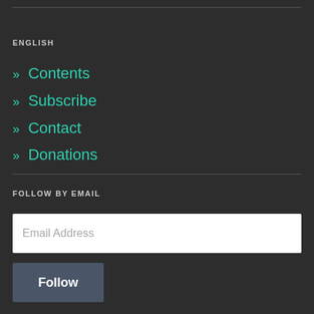ENGLISH
» Contents
» Subscribe
» Contact
» Donations
FOLLOW BY EMAIL
Email Address
Follow